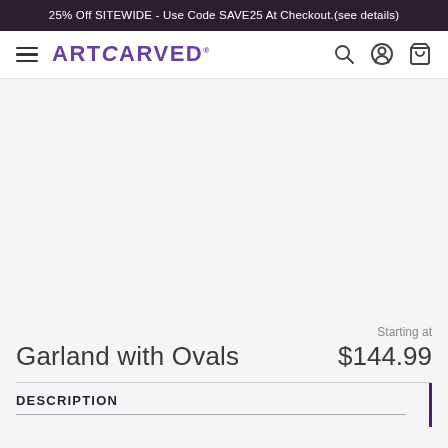25% Off SITEWIDE - Use Code SAVE25 At Checkout.(see details)
ARTCARVED
[Figure (other): Product image area - empty/placeholder for Garland with Ovals jewelry product]
Garland with Ovals
Starting at $144.99
DESCRIPTION